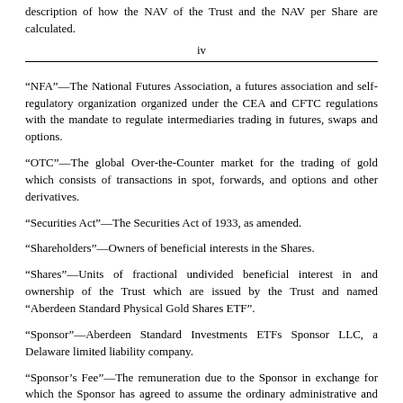description of how the NAV of the Trust and the NAV per Share are calculated.
iv
“NFA”—The National Futures Association, a futures association and self-regulatory organization organized under the CEA and CFTC regulations with the mandate to regulate intermediaries trading in futures, swaps and options.
“OTC”—The global Over-the-Counter market for the trading of gold which consists of transactions in spot, forwards, and options and other derivatives.
“Securities Act”—The Securities Act of 1933, as amended.
“Shareholders”—Owners of beneficial interests in the Shares.
“Shares”—Units of fractional undivided beneficial interest in and ownership of the Trust which are issued by the Trust and named “Aberdeen Standard Physical Gold Shares ETF”.
“Sponsor”—Aberdeen Standard Investments ETFs Sponsor LLC, a Delaware limited liability company.
“Sponsor’s Fee”—The remuneration due to the Sponsor in exchange for which the Sponsor has agreed to assume the ordinary administrative and marketing expenses that the Trust is expected to incur. The fee accrues daily and is payable